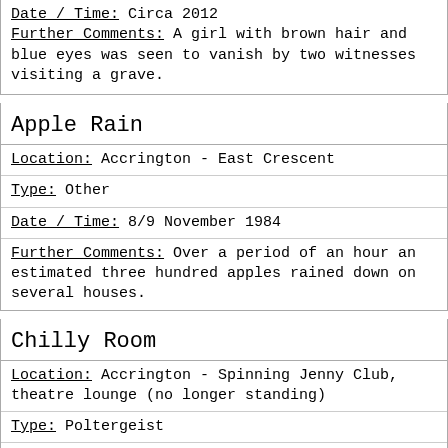Date / Time: Circa 2012
Further Comments: A girl with brown hair and blue eyes was seen to vanish by two witnesses visiting a grave.
Apple Rain
Location: Accrington - East Crescent
Type: Other
Date / Time: 8/9 November 1984
Further Comments: Over a period of an hour an estimated three hundred apples rained down on several houses.
Chilly Room
Location: Accrington - Spinning Jenny Club, theatre lounge (no longer standing)
Type: Poltergeist
Date / Time: Unknown